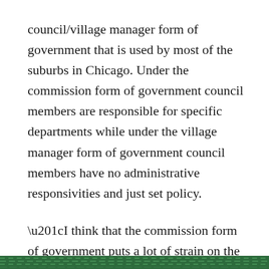council/village manager form of government that is used by most of the suburbs in Chicago. Under the commission form of government council members are responsible for specific departments while under the village manager form of government council members have no administrative responsivities and just set policy.
“I think that the commission form of government puts a lot of strain on the employees,” Tellalian said. “I think it’s difficult for them to have to go through the amount of change every four years knowing that the commissioners are coming in, knowing that there is going to be new administration coming in.”